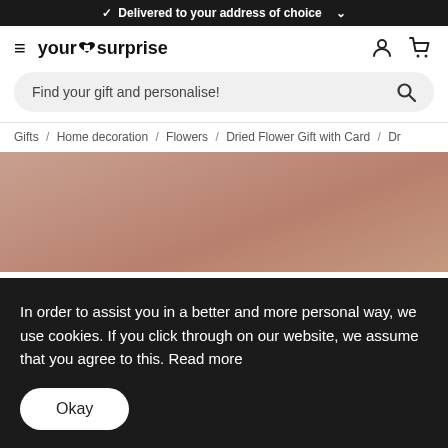✓ Delivered to your address of choice
[Figure (logo): YourSurprise brand logo with heart icon, hamburger menu, user icon and cart icon]
Find your gift and personalise!
Gifts / Home decoration / Flowers / Dried Flower Gift with Card / Dr
[Figure (photo): Product image showing a brownish-pink textured surface (likely a dried flower gift box or card)]
In order to assist you in a better and more personal way, we use cookies. If you click through on our website, we assume that you agree to this. Read more
Okay